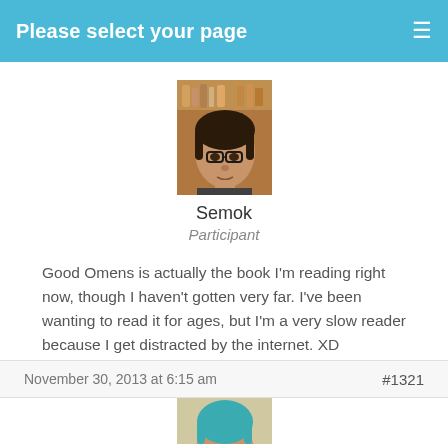Please select your page
[Figure (photo): Profile photo of user Semok — person with short dark hair and glasses, seated in front of shelves with bottles]
Semok
Participant
Good Omens is actually the book I'm reading right now, though I haven't gotten very far. I've been wanting to read it for ages, but I'm a very slow reader because I get distracted by the internet. XD
If you haven't read them you really should. Sandman is rather long, though I guess so is Fables. They're both really good, though.
November 30, 2013 at 6:15 am
#1321
[Figure (photo): Partial profile photo of next user — person with teal-dyed hair visible at bottom of page]